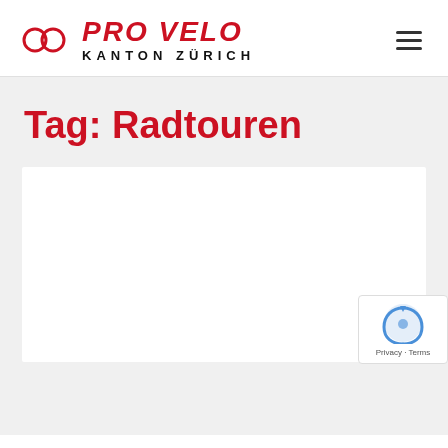[Figure (logo): Pro Velo Kanton Zürich logo with two red circles and bold italic red PRO VELO text above bold black KANTON ZÜRICH text]
Tag: Radtouren
[Figure (other): White content card placeholder area]
[Figure (other): reCAPTCHA badge with Privacy and Terms text]